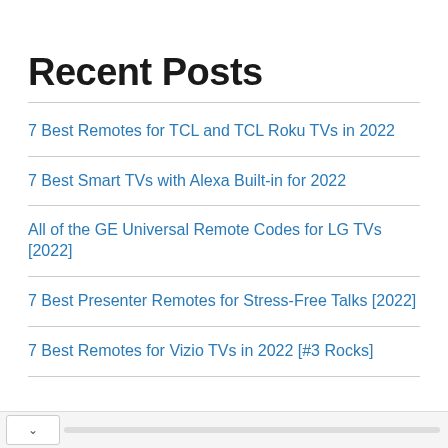Recent Posts
7 Best Remotes for TCL and TCL Roku TVs in 2022
7 Best Smart TVs with Alexa Built-in for 2022
All of the GE Universal Remote Codes for LG TVs [2022]
7 Best Presenter Remotes for Stress-Free Talks [2022]
7 Best Remotes for Vizio TVs in 2022 [#3 Rocks]